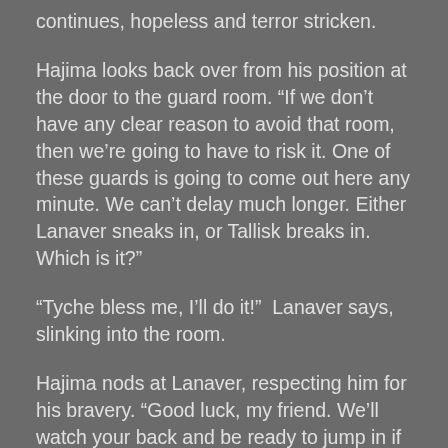continues, hopeless and terror stricken.
Hajima looks back over from his position at the door to the guard room. “If we don’t have any clear reason to avoid that room, then we’re going to have to risk it. One of these guards is going to come out here any minute. We can’t delay much longer. Either Lanaver sneaks in, or Tallisk breaks in. Which is it?”
“Tyche bless me, I’ll do it!”  Lanaver says, slinking into the room.
Hajima nods at Lanaver, respecting him for his bravery. “Good luck, my friend. We’ll watch your back and be ready to jump in if there’s any sign of trouble.”
Rowan touches Lanaver’s arm as he passes and says, “I